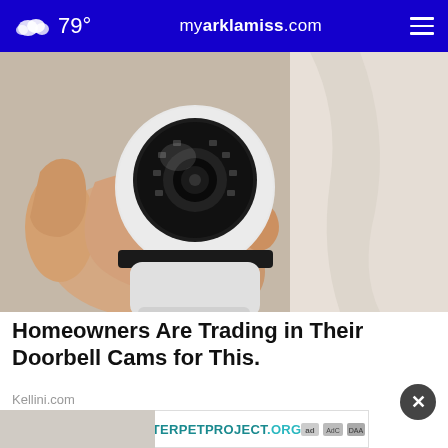79° myarklamiss.com
[Figure (photo): A hand holding a small white dome/bullet security camera with a circular lens array and multiple LED lights, photographed against a light background with white objects]
Homeowners Are Trading in Their Doorbell Cams for This.
Kellini.com
[Figure (infographic): Advertisement banner for THESHELTERPETPROJECT.ORG with ad choice icons]
[Figure (photo): Partial bottom image, partially obscured by ad banner]